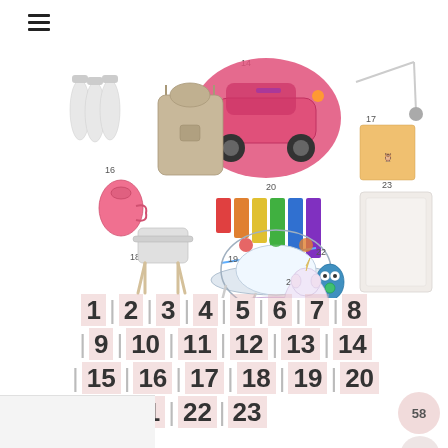[Figure (photo): Collage of numbered baby and toddler products including bottles, diaper bag backpack, pink ride-on car, stroller parts, pink cup, high chair, activity center, xylophone toy, stuffed animals, mattress, and small toys. Items numbered 14-23 are visible.]
1 | 2 | 3 | 4 | 5 | 6 | 7 | 8
| 9 | 10 | 11 | 12 | 13 | 14
| 15 | 16 | 17 | 18 | 19 | 20
| 21 | 22 | 23
58